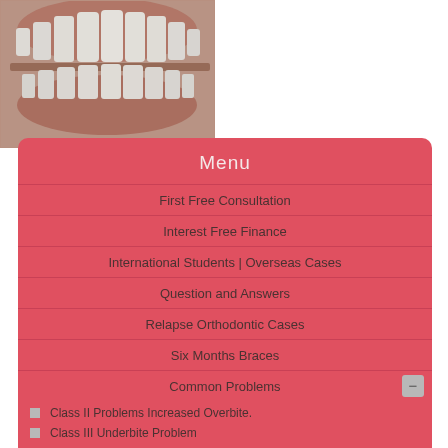[Figure (photo): Close-up photo of a dental model showing upper and lower teeth (orthodontic model), top portion visible]
Menu
First Free Consultation
Interest Free Finance
International Students | Overseas Cases
Question and Answers
Relapse Orthodontic Cases
Six Months Braces
Common Problems
Class II Problems Increased Overbite.
Class III Underbite Problem
Cross Bite